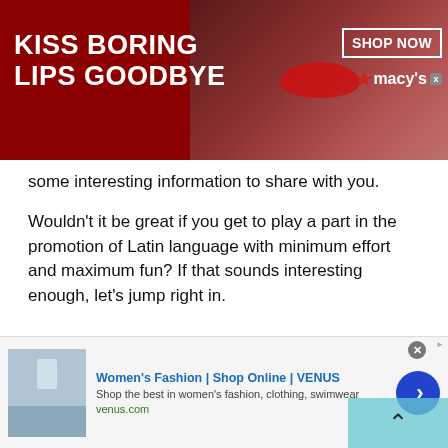[Figure (photo): Macy's advertisement banner: dark red background with woman's face showing red lips in center, KISS BORING LIPS GOODBYE text on left, SHOP NOW button and Macy's logo on right]
some interesting information to share with you.
Wouldn't it be great if you get to play a part in the promotion of Latin language with minimum effort and maximum fun? If that sounds interesting enough, let's jump right in.
Furthermore
Archaeologists have found that the first Latin Americans were hunters who used to live off the land. History also tells us that after some time the people started farming
[Figure (screenshot): Venus fashion advertisement: Women's Fashion | Shop Online | VENUS, Shop the best in women's fashion, clothing, swimwear, venus.com]